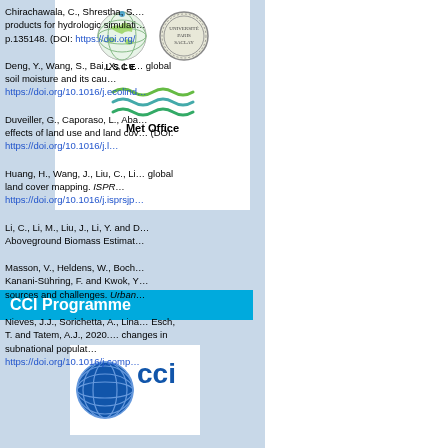[Figure (logo): LSCE logo (globe icon with LSCE text) and a university/institution seal logo side by side, with Met Office logo (wavy lines) below]
CCI Programme
[Figure (logo): CCI (Climate Change Initiative) logo — blue globe with CCI text]
Chirachawala, C., Shrestha, S.… products for hydrologic simulation… p.135148. (DOI: https://doi.org/…
Deng, Y., Wang, S., Bai, X., Lu… global soil moisture and its cau… https://doi.org/10.1016/j.ecolind…
Duveiller, G., Caporaso, L., Aba… effects of land use and land cov… (DOI: https://doi.org/10.1016/j.l…
Huang, H., Wang, J., Liu, C., Li… global land cover mapping. ISPR… https://doi.org/10.1016/j.isprsjp…
Li, C., Li, M., Liu, J., Li, Y. and D… Aboveground Biomass Estimat…
Masson, V., Heldens, W., Boch… Kanani-Sühring, F. and Kwok, Y… sources and challenges. Urban…
Nieves, J.J., Sorichetta, A., Lina… Esch, T. and Tatem, A.J., 2020.… changes in subnational populat… https://doi.org/10.1016/j.comp…